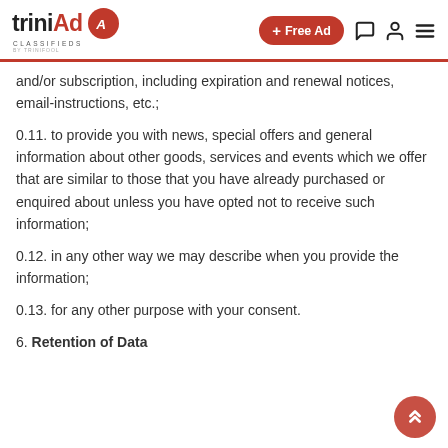trinIAd Classifieds | + Free Ad
and/or subscription, including expiration and renewal notices, email-instructions, etc.;
0.11. to provide you with news, special offers and general information about other goods, services and events which we offer that are similar to those that you have already purchased or enquired about unless you have opted not to receive such information;
0.12. in any other way we may describe when you provide the information;
0.13. for any other purpose with your consent.
6. Retention of Data